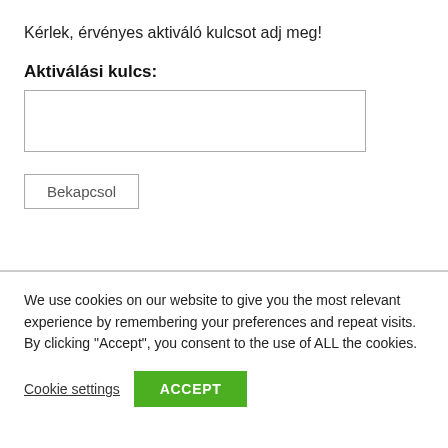Kérlek, érvényes aktiváló kulcsot adj meg!
Aktiválási kulcs:
[Figure (screenshot): Text input field (empty) for activation key entry]
[Figure (screenshot): Button labeled 'Bekapcsol']
We use cookies on our website to give you the most relevant experience by remembering your preferences and repeat visits. By clicking "Accept", you consent to the use of ALL the cookies.
Cookie settings
ACCEPT